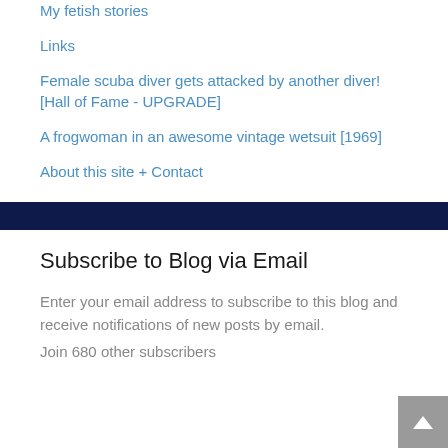My fetish stories
Links
Female scuba diver gets attacked by another diver! [Hall of Fame - UPGRADE]
A frogwoman in an awesome vintage wetsuit [1969]
About this site + Contact
Subscribe to Blog via Email
Enter your email address to subscribe to this blog and receive notifications of new posts by email.
Join 680 other subscribers